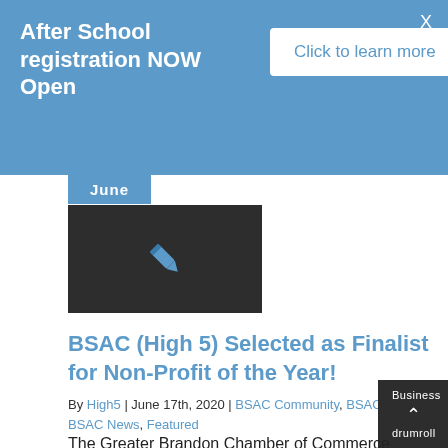After School registration NOW Open
Click to learn more
June
[Figure (illustration): Dark background square with a blue pen/nib icon centered on it]
BSAC (High 5) Selected as Finalist for Non-Profit of the Year!
By High5 | June 17th, 2020 | BSAC Community, BSAC Events, BSAC News, Featured
The Greater Brandon Chamber of Commerce announced the finalists for its 2020 Business Excellence Awards this past week, and drumroll, please… BSAC/High 5 has been tapped as a finalist